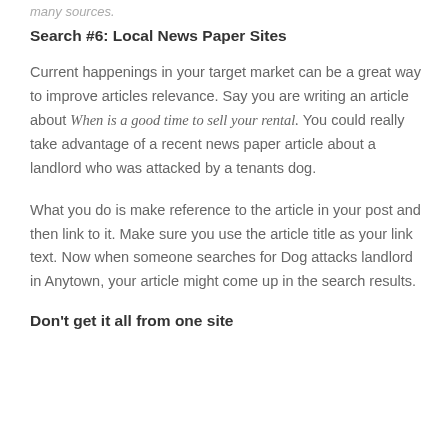many sources.
Search #6: Local News Paper Sites
Current happenings in your target market can be a great way to improve articles relevance.  Say you are writing an article about When is a good time to sell your rental.  You could really take advantage of a recent news paper article about a landlord who was attacked by a tenants dog.
What you do is make reference to the article in your post and then link to it. Make sure you use the article title as your link text.  Now when someone searches for Dog attacks landlord in Anytown, your article might come up in the search results.
Don't get it all from one site